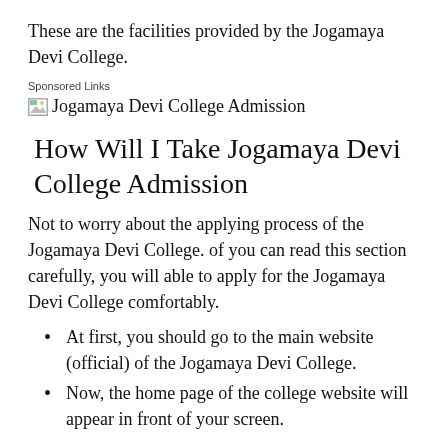These are the facilities provided by the Jogamaya Devi College.
Sponsored Links
[Figure (illustration): Broken image placeholder with alt text: Jogamaya Devi College Admission]
How Will I Take Jogamaya Devi College Admission
Not to worry about the applying process of the Jogamaya Devi College. of you can read this section carefully, you will able to apply for the Jogamaya Devi College comfortably.
At first, you should go to the main website (official) of the Jogamaya Devi College.
Now, the home page of the college website will appear in front of your screen.